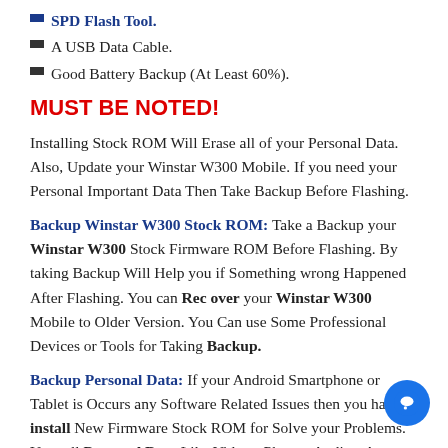SPD Flash Tool.
A USB Data Cable.
Good Battery Backup (At Least 60%).
MUST BE NOTED!
Installing Stock ROM Will Erase all of your Personal Data. Also, Update your Winstar W300 Mobile. If you need your Personal Important Data Then Take Backup Before Flashing.
Backup Winstar W300 Stock ROM: Take a Backup your Winstar W300 Stock Firmware ROM Before Flashing. By taking Backup Will Help you if Something wrong Happened After Flashing. You can Recover your Winstar W300 Mobile to Older Version. You Can use Some Professional Devices or Tools for Taking Backup.
Backup Personal Data: If your Android Smartphone or Tablet is Occurs any Software Related Issues then you have to install New Firmware Stock ROM for Solve your Problems. Your all Personal Data Like Videos, Photos, Audios, Apps, Documents Etc. Will be Erased before Flashing Or Replacing Stock ROM on Your Android Device.